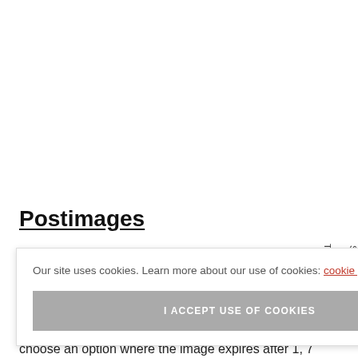Postimages
Our site uses cookies. Learn more about our use of cookies: cookie policy
I ACCEPT USE OF COOKIES
mages
l create
h are usable
could be
rs may also
Scroll to Top
choose an option where the image expires after 1, 7